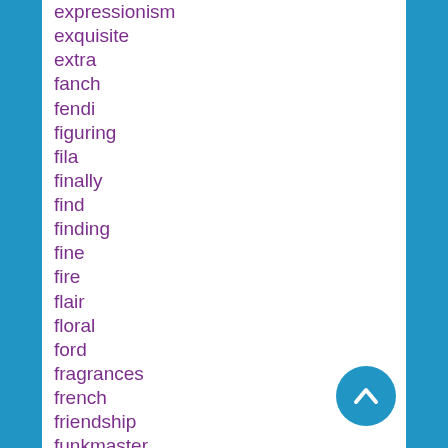expressionism
exquisite
extra
fanch
fendi
figuring
fila
finally
find
finding
fine
fire
flair
floral
ford
fragrances
french
friendship
funkmaster
garden
gargoyles